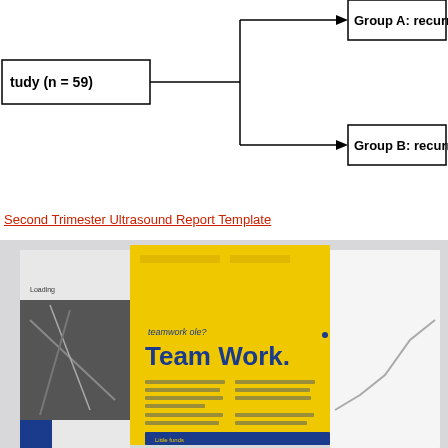[Figure (flowchart): Partial flowchart diagram showing a study node (n = 59) branching into Group A: recurrence-free and Group B: recurrence-free]
Second Trimester Ultrasound Report Template
[Figure (photo): Photo of open magazine/booklet showing a yellow page with 'Team Work.' headline in blue text and a blue page with dark image, and a white page with a line chart on the right]